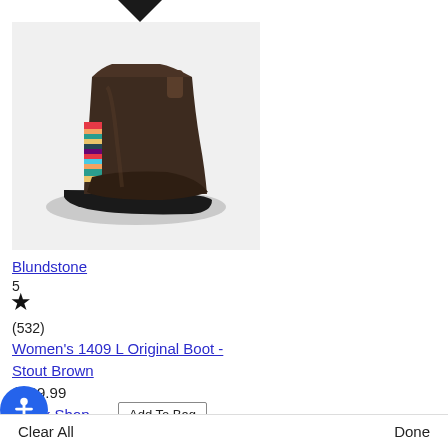[Figure (photo): Product photo of Blundstone Women's 1409 L Original Boot in Stout Brown with colorful striped elastic side panels, displayed on a light gray background]
Blundstone
5
★
(532)
Women's 1409 L Original Boot - Stout Brown
$229.99
Quick Shop
Add To Bag
Clear All   Done